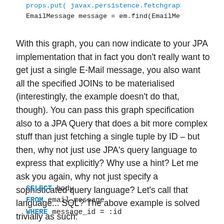props.put( javax.persistence.fetchgrap…
EmailMessage message = em.find(EmailMe…
With this graph, you can now indicate to your JPA implementation that in fact you don't really want to get just a single E-Mail message, you also want all the specified JOINs to be materialised (interestingly, the example doesn't do that, though). You can pass this graph specification also to a JPA Query that does a bit more complex stuff than just fetching a single tuple by ID – but then, why not just use JPA's query language to express that explicitly? Why use a hint? Let me ask you again, why not just specify a sophisticated query language? Let's call that language... SQL? The above example is solved trivially as such:
SELECT body
FROM email_message
WHERE message_id = :id